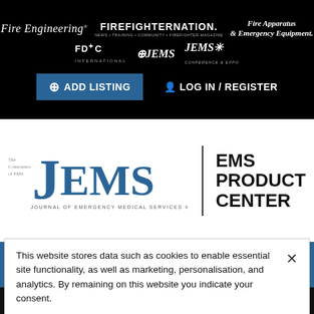[Figure (logo): Navigation header bar with Fire Engineering, Firefighter Nation, Fire Apparatus & Emergency Equipment, FDIC International, JEMS, and JEMS Conference & Expo logos on black background, with ADD LISTING button and LOG IN / REGISTER link]
[Figure (logo): JEMS EMS Product Center logo — blue JEMS wordmark with 'Journal of Emergency Medical Services' subtitle and 'EMS PRODUCT CENTER' text in bold black to the right]
[Figure (screenshot): Blue navigation bar with hamburger menu icon on the right]
This website stores data such as cookies to enable essential site functionality, as well as marketing, personalisation, and analytics. By remaining on this website you indicate your consent.